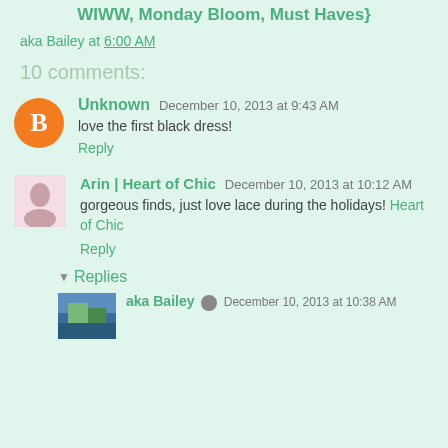WIWW, Monday Bloom, Must Haves}
aka Bailey at 6:00 AM
10 comments:
Unknown December 10, 2013 at 9:43 AM
love the first black dress!
Reply
Arin | Heart of Chic December 10, 2013 at 10:12 AM
gorgeous finds, just love lace during the holidays! Heart of Chic
Reply
Replies
aka Bailey December 10, 2013 at 10:38 AM